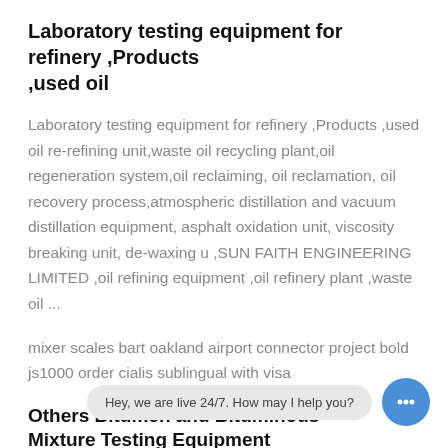Laboratory testing equipment for refinery ,Products ,used oil
Laboratory testing equipment for refinery ,Products ,used oil re-refining unit,waste oil recycling plant,oil regeneration system,oil reclaiming, oil reclamation, oil recovery process,atmospheric distillation and vacuum distillation equipment, asphalt oxidation unit, viscosity breaking unit, de-waxing u ,SUN FAITH ENGINEERING LIMITED ,oil refining equipment ,oil refinery plant ,waste oil ...
mixer scales bart oakland airport connector project bold js1000 order cialis sublingual with visa
Others Bitumen and Bituminous Mixture Testing Equipment
China Others Bitumen and Bituminous Mixture Testing